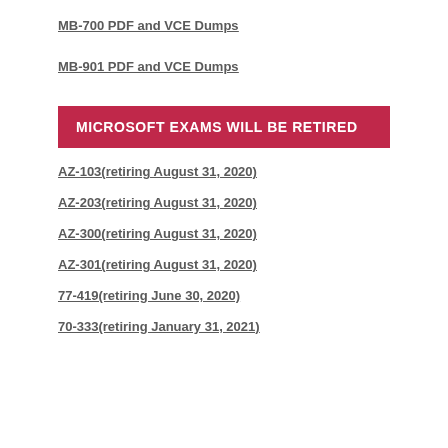MB-700 PDF and VCE Dumps
MB-901 PDF and VCE Dumps
MICROSOFT EXAMS WILL BE RETIRED
AZ-103(retiring August 31, 2020)
AZ-203(retiring August 31, 2020)
AZ-300(retiring August 31, 2020)
AZ-301(retiring August 31, 2020)
77-419(retiring June 30, 2020)
70-333(retiring January 31, 2021)